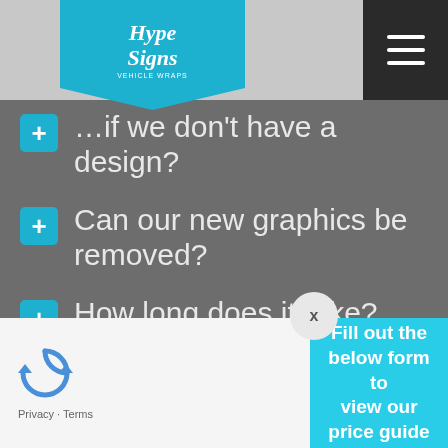[Figure (logo): Hype Signs logo on teal pentagon badge]
...if we don't have a design?
Can our new graphics be removed?
How long does it take?
Fill out the below form to view our price guide